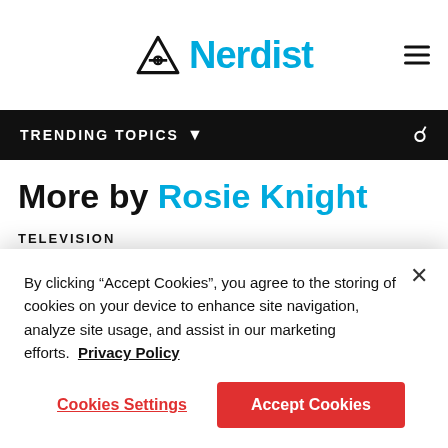Nerdist
TRENDING TOPICS
More by Rosie Knight
TELEVISION
Cobra Kai or Miyagi-Do, Which
By clicking “Accept Cookies”, you agree to the storing of cookies on your device to enhance site navigation, analyze site usage, and assist in our marketing efforts. Privacy Policy
Cookies Settings
Accept Cookies